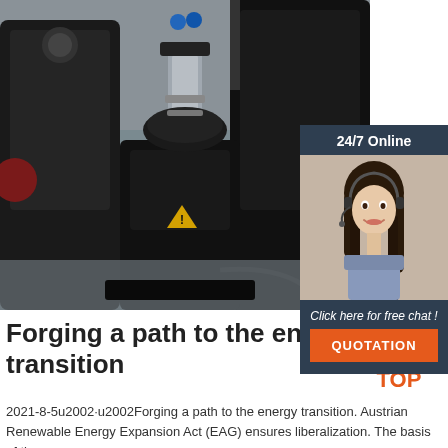[Figure (photo): Industrial forging/energy machine in a factory setting, large black mechanical equipment with silver cylindrical components, photographed in a workshop]
[Figure (infographic): Side widget with dark navy background showing '24/7 Online' text, a smiling woman wearing a headset (customer support agent), italic text 'Click here for free chat!', and an orange QUOTATION button]
Forging a path to the energy transition
[Figure (logo): TOP logo with orange triangular arrow shape above the word TOP in orange]
2021-8-5u2002·u2002Forging a path to the energy transition. Austrian Renewable Energy Expansion Act (EAG) ensures liberalization. The basis of the energy